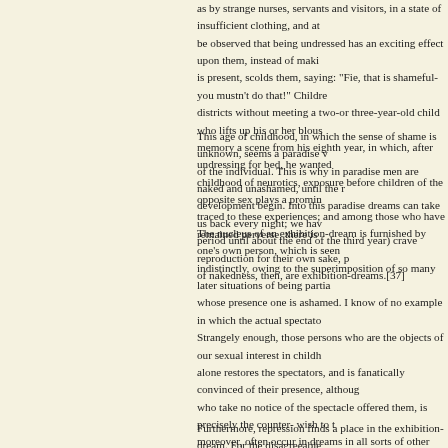as by strange nurses, servants and visitors, in a state of insufficient clothing, and at be observed that being undressed has an exciting effect upon them, instead of maki is present, scolds them, saying: "Fie, that is shameful- you mustn't do that!" Childre districts without meeting a two-or three-year-old child who lifts up his or her blous memory a scene from his eighth year, in which, after undressing for bed, he wanted childhood of neurotics, exposure before children of the opposite sex plays a promin traced to these experiences; and among those who have remained perverse, there is
This age of childhood, in which the sense of shame is unknown, seems a paradise v of the individual. This is why in paradise men are naked and unashamed, until the r development begin. Into this paradise dreams can take us back every night; we hav period until about the end of the third year) crave reproduction for their own sake, p of nakedness, then, are exhibition-dreams.[37]
The nucleus of an exhibition-dream is furnished by one's own person, which is seen indistinctly, owing to the superimposition of so many later situations of being partia whose presence one is ashamed. I know of no example in which the actual spectato Strangely enough, those persons who are the objects of our sexual interest in childh alone restores the spectators, and is fanatically convinced of their presence, althoug who take no notice of the spectacle offered them, is precisely the counter- wish to t moreover, often occur in dreams in all sorts of other connections; as a counter-wish occurs in paranoia complies with this counter-tendency. One is no longer alone; one people.
Furthermore, repression finds a place in the exhibition-dream. For the disagreeable